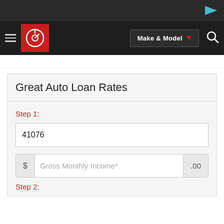[Figure (screenshot): Top advertisement bar with dark background and play icon]
[Figure (screenshot): Navigation bar with hamburger menu, Carfax logo, Make & Model dropdown, and search icon]
Great Auto Loan Rates
Step 1:
41076
$ Gross Monthly Income* .00
Step 2: